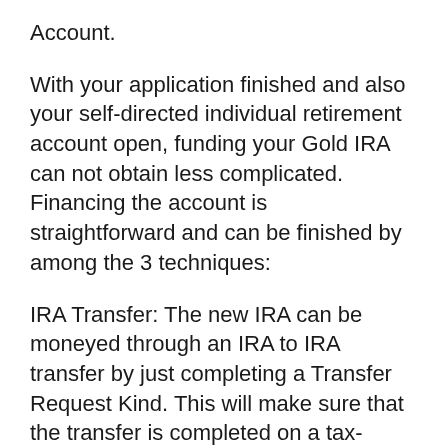Account.
With your application finished and also your self-directed individual retirement account open, funding your Gold IRA can not obtain less complicated. Financing the account is straightforward and can be finished by among the 3 techniques:
IRA Transfer: The new IRA can be moneyed through an IRA to IRA transfer by just completing a Transfer Request Kind. This will make sure that the transfer is completed on a tax-deferred and also penalty-free basis. Rollover: A straight rollover from a 401( k) or various other professional retirement is an additional means to fund your self-directed IRA, yet a default basis.